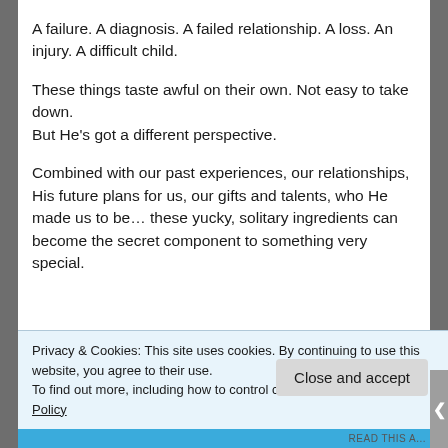A failure. A diagnosis. A failed relationship. A loss. An injury. A difficult child.
These things taste awful on their own. Not easy to take down.
But He's got a different perspective.
Combined with our past experiences, our relationships, His future plans for us, our gifts and talents, who He made us to be… these yucky, solitary ingredients can become the secret component to something very special.
Privacy & Cookies: This site uses cookies. By continuing to use this website, you agree to their use.
To find out more, including how to control cookies, see here: Cookie Policy
Close and accept